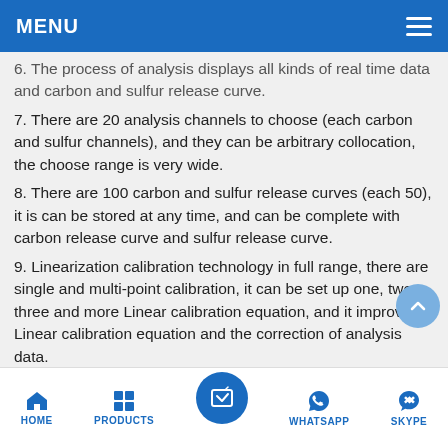MENU
6. The process of analysis displays all kinds of real time data and carbon and sulfur release curve.
7. There are 20 analysis channels to choose (each carbon and sulfur channels), and they can be arbitrary collocation, the choose range is very wide.
8. There are 100 carbon and sulfur release curves (each 50), it is can be stored at any time, and can be complete with carbon release curve and sulfur release curve.
9. Linearization calibration technology in full range, there are single and multi-point calibration, it can be set up one, two, three and more Linear calibration equation, and it improves Linear calibration equation and the correction of analysis data.
10.It can be communicated with data center or reported in front of the furnace.
HOME  PRODUCTS  WHATSAPP  SKYPE